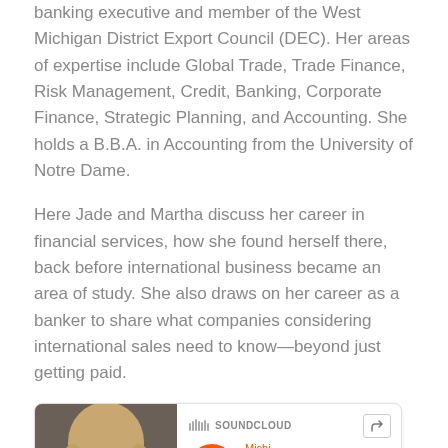banking executive and member of the West Michigan District Export Council (DEC). Her areas of expertise include Global Trade, Trade Finance, Risk Management, Credit, Banking, Corporate Finance, Strategic Planning, and Accounting. She holds a B.B.A. in Accounting from the University of Notre Dame.
Here Jade and Martha discuss her career in financial services, how she found herself there, back before international business became an area of study. She also draws on her career as a banker to share what companies considering international sales need to know—beyond just getting paid.
[Figure (other): A SoundCloud audio player embed showing a headshot photo of a blonde woman on the left, an orange play button, track title 'Michi...' and 'glo...' text, SoundCloud logo, share button, and an audio waveform bar chart at the bottom.]